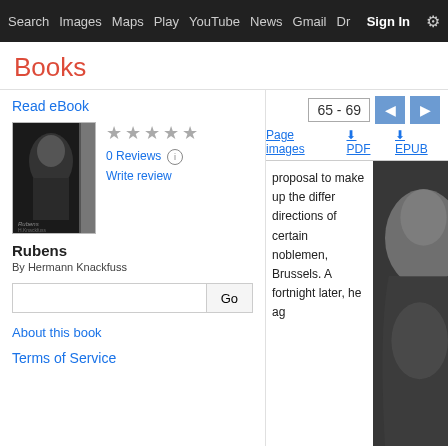Search  Images  Maps  Play  YouTube  News  Gmail  Dr  Sign In  More  ⚙
Books
65 - 69
Page images  ⬇ PDF  ⬇ EPUB
Read eBook
[Figure (photo): Book cover thumbnail for Rubens by Hermann Knackfuss, dark background with figure]
0 Reviews
Write review
Rubens
By Hermann Knackfuss
About this book
Terms of Service
proposal to make up the differ... directions of certain noblemen, ... Brussels. A fortnight later, he ag...
[Figure (photo): Partial black and white painting/illustration visible on right side of book reader]